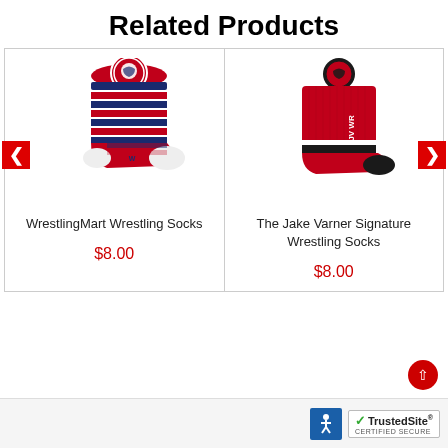Related Products
[Figure (photo): Red and navy blue striped wrestling sock with a circular mascot logo on the cuff]
WrestlingMart Wrestling Socks
$8.00
[Figure (photo): Red wrestling sock with white stripe and black toe/heel, circular logo on cuff, branded text on leg]
The Jake Varner Signature Wrestling Socks
$8.00
TrustedSite CERTIFIED SECURE